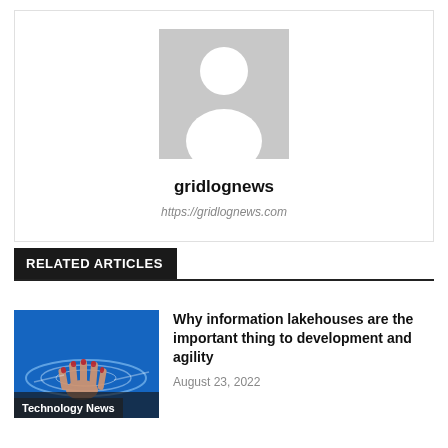[Figure (illustration): Generic user avatar placeholder — grey background with white silhouette of a person (head circle and body shape)]
gridlognews
https://gridlognews.com
RELATED ARTICLES
[Figure (photo): A hand touching water surface with blue tones, labeled 'Technology News' at the bottom]
Why information lakehouses are the important thing to development and agility
August 23, 2022